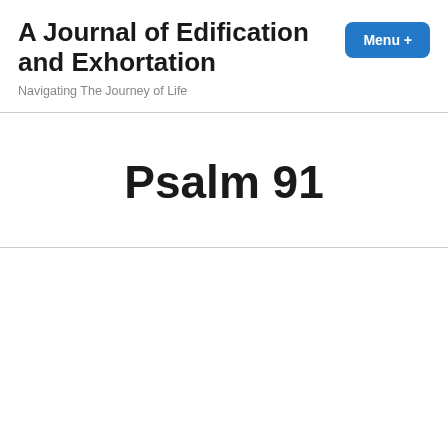A Journal of Edification and Exhortation
Navigating The Journey of Life
Psalm 91